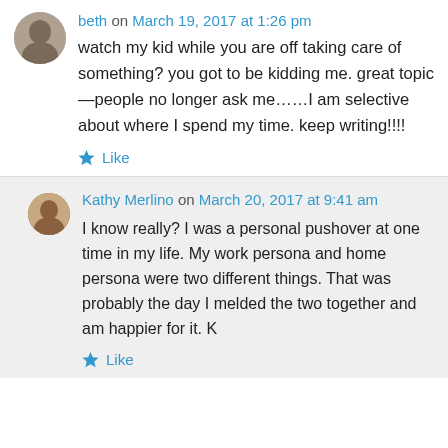beth on March 19, 2017 at 1:26 pm
watch my kid while you are off taking care of something? you got to be kidding me. great topic—people no longer ask me……I am selective about where I spend my time. keep writing!!!!
★ Like
Kathy Merlino on March 20, 2017 at 9:41 am
I know really? I was a personal pushover at one time in my life. My work persona and home persona were two different things. That was probably the day I melded the two together and am happier for it. K
★ Like